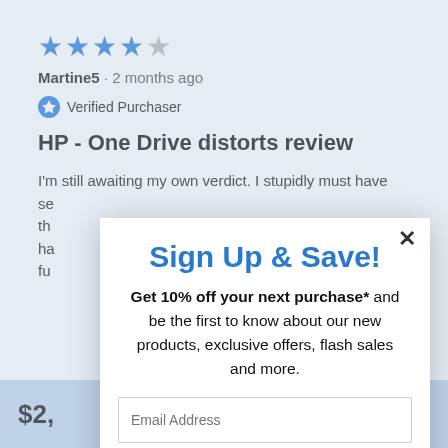★★★★☆
Martine5 · 2 months ago
Verified Purchaser
HP - One Drive distorts review
I'm still awaiting my own verdict. I stupidly must have se... th... ha... fu...
$2,
Sign Up & Save!
Get 10% off your next purchase* and be the first to know about our new products, exclusive offers, flash sales and more.
Email Address
Receive SMS notifications